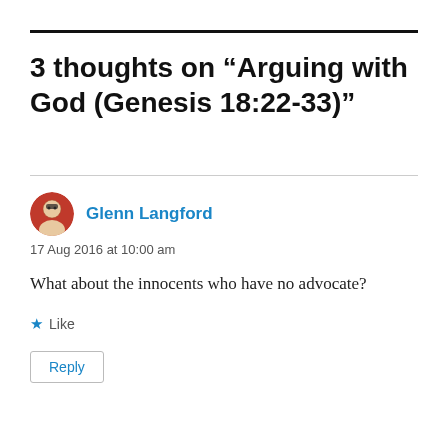3 thoughts on “Arguing with God (Genesis 18:22-33)”
Glenn Langford
17 Aug 2016 at 10:00 am
What about the innocents who have no advocate?
Like
Reply